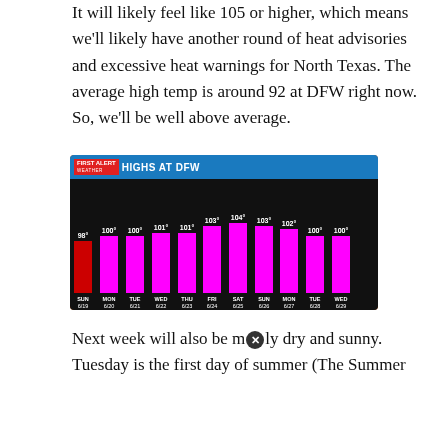It will likely feel like 105 or higher, which means we'll likely have another round of heat advisories and excessive heat warnings for North Texas. The average high temp is around 92 at DFW right now.  So, we'll be well above average.
[Figure (bar-chart): HIGHS AT DFW]
Next week will also be mainly dry and sunny. Tuesday is the first day of summer (The Summer